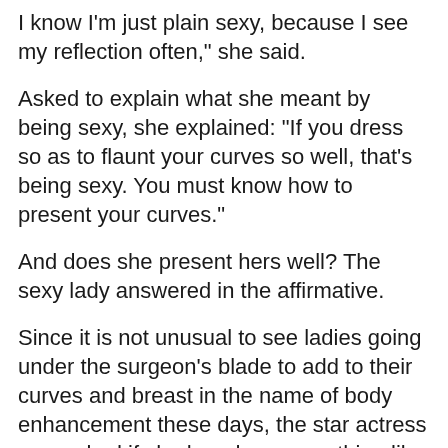I know I'm just plain sexy, because I see my reflection often," she said.
Asked to explain what she meant by being sexy, she explained: "If you dress so as to flaunt your curves so well, that's being sexy. You must know how to present your curves."
And does she present hers well? The sexy lady answered in the affirmative.
Since it is not unusual to see ladies going under the surgeon's blade to add to their curves and breast in the name of body enhancement these days, the star actress was asked if she has done something like that.
Omotola riposted with the question: "Why should